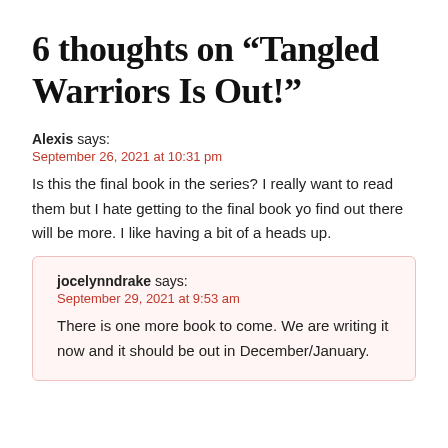6 thoughts on “Tangled Warriors Is Out!”
Alexis says:
September 26, 2021 at 10:31 pm
Is this the final book in the series? I really want to read them but I hate getting to the final book yo find out there will be more. I like having a bit of a heads up.
jocelynndrake says:
September 29, 2021 at 9:53 am
There is one more book to come. We are writing it now and it should be out in December/January.